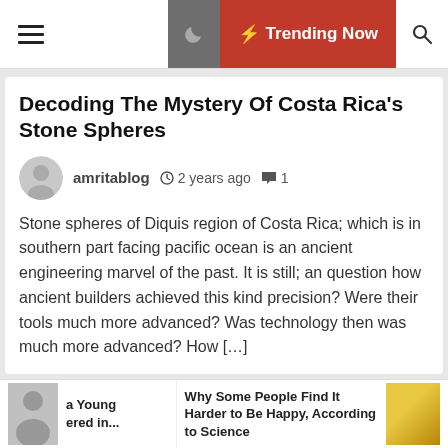☰  🌙  ⚡ Trending Now  🔍
Decoding The Mystery Of Costa Rica's Stone Spheres
amritablog   🕐 2 years ago   💬 1
Stone spheres of Diquis region of Costa Rica; which is in southern part facing pacific ocean is an ancient engineering marvel of the past. It is still; an question how ancient builders achieved this kind precision? Were their tools much more advanced? Was technology then was much more advanced? How […]
[Figure (photo): Banner image with text 'Ancient Egyptian TECHNOLOGY' on blue background]
a Young ered in...
Why Some People Find It Harder to Be Happy, According to Science